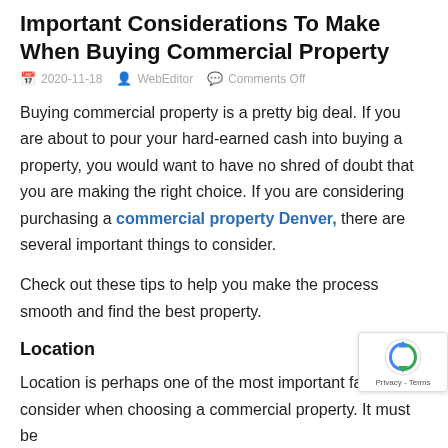Important Considerations To Make When Buying Commercial Property
2020-11-18 · WebEditor · Comments Off
Buying commercial property is a pretty big deal. If you are about to pour your hard-earned cash into buying a property, you would want to have no shred of doubt that you are making the right choice. If you are considering purchasing a commercial property Denver, there are several important things to consider.
Check out these tips to help you make the process smooth and find the best property.
Location
Location is perhaps one of the most important factors to consider when choosing a commercial property. It must be